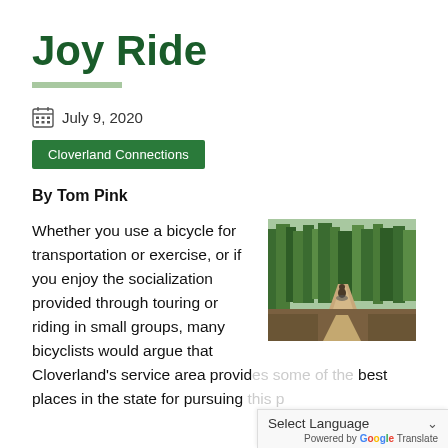Joy Ride
July 9, 2020
Cloverland Connections
By Tom Pink
[Figure (photo): A person riding a bicycle on a wooded dirt trail surrounded by green trees]
Whether you use a bicycle for transportation or exercise, or if you enjoy the socialization provided through touring or riding in small groups, many bicyclists would argue that Cloverland's service area provid... some of the best places in the state for pursuing...